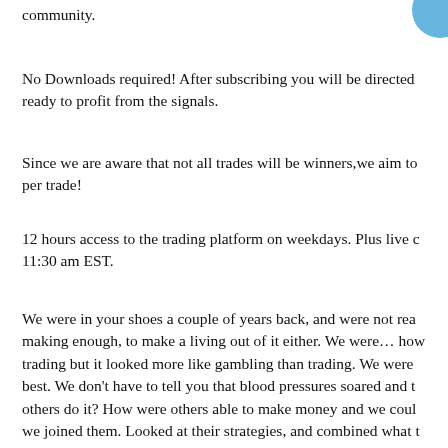community.
No Downloads required! After subscribing you will be directed ready to profit from the signals.
Since we are aware that not all trades will be winners,we aim to per trade!
12 hours access to the trading platform on weekdays. Plus live c 11:30 am EST.
We were in your shoes a couple of years back, and were not rea making enough, to make a living out of it either. We were… how trading but it looked more like gambling than trading. We were best. We don't have to tell you that blood pressures soared and t others do it? How were others able to make money and we coul we joined them. Looked at their strategies, and combined what worked well for us. What happened next was phenomenal. We v trader. Then we heard of other traders trying automation. So m